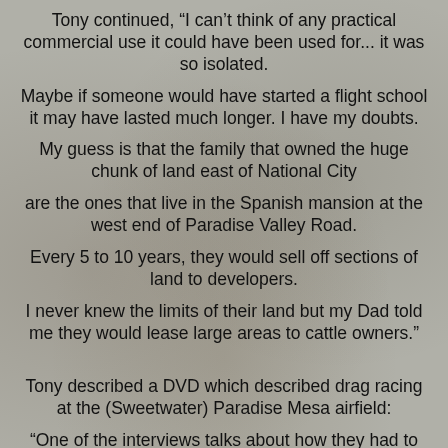Tony continued, “I can’t think of any practical commercial use it could have been used for... it was so isolated.
Maybe if someone would have started a flight school it may have lasted much longer. I have my doubts.
My guess is that the family that owned the huge chunk of land east of National City
are the ones that live in the Spanish mansion at the west end of Paradise Valley Road.
Every 5 to 10 years, they would sell off sections of land to developers.
I never knew the limits of their land but my Dad told me they would lease large areas to cattle owners.”
Tony described a DVD which described drag racing at the (Sweetwater) Paradise Mesa airfield:
“One of the interviews talks about how they had to get